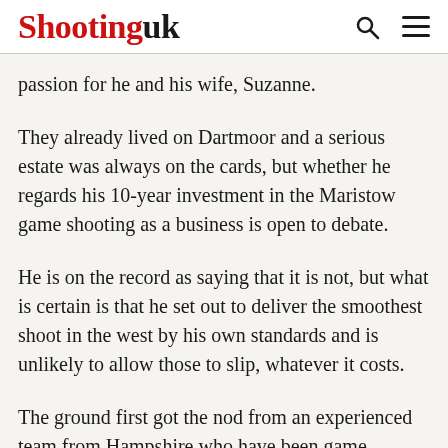Shootinguk
passion for he and his wife, Suzanne.
They already lived on Dartmoor and a serious estate was always on the cards, but whether he regards his 10-year investment in the Maristow game shooting as a business is open to debate.
He is on the record as saying that it is not, but what is certain is that he set out to deliver the smoothest shoot in the west by his own standards and is unlikely to allow those to slip, whatever it costs.
The ground first got the nod from an experienced team from Hampshire who have been game shooting there